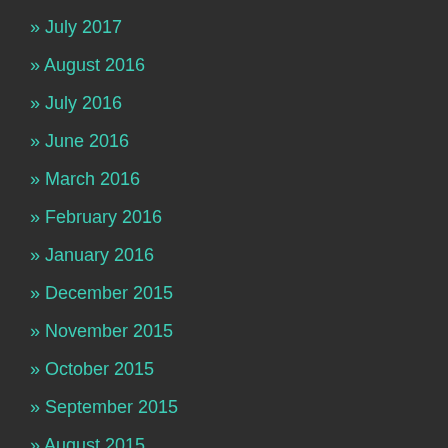» July 2017
» August 2016
» July 2016
» June 2016
» March 2016
» February 2016
» January 2016
» December 2015
» November 2015
» October 2015
» September 2015
» August 2015
» July 2015
» March 2015